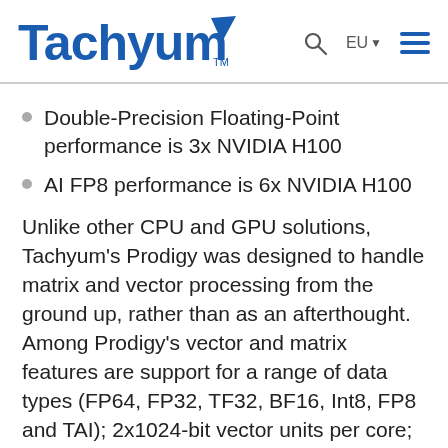Tachyum
Double-Precision Floating-Point performance is 3x NVIDIA H100
AI FP8 performance is 6x NVIDIA H100
Unlike other CPU and GPU solutions, Tachyum's Prodigy was designed to handle matrix and vector processing from the ground up, rather than as an afterthought. Among Prodigy's vector and matrix features are support for a range of data types (FP64, FP32, TF32, BF16, Int8, FP8 and TAI); 2x1024-bit vector units per core; AI sparsity and super-sparsity support; and no penalty for misaligned vector loads or stores when crossing cache lines. This built-in